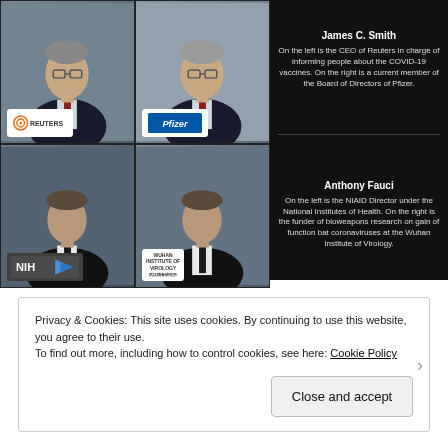[Figure (infographic): Composite infographic showing James C. Smith (left: Reuters CEO, right: Pfizer Board member) and Anthony Fauci (left: NIAID Director/NIH, right: funder of Wuhan Institute of Virology research). Four photos arranged in a 2x2 grid with logos and descriptive text on black background.]
Privacy & Cookies: This site uses cookies. By continuing to use this website, you agree to their use.
To find out more, including how to control cookies, see here: Cookie Policy
Close and accept